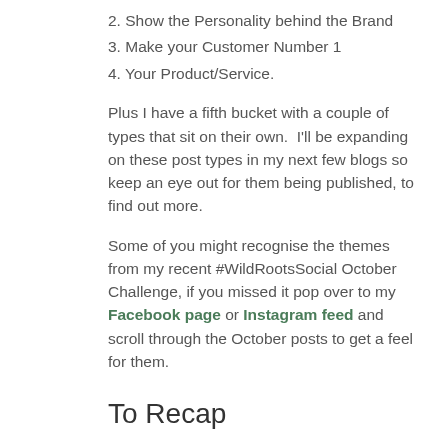2. Show the Personality behind the Brand
3. Make your Customer Number 1
4. Your Product/Service.
Plus I have a fifth bucket with a couple of types that sit on their own.  I'll be expanding on these post types in my next few blogs so keep an eye out for them being published, to find out more.
Some of you might recognise the themes from my recent #WildRootsSocial October Challenge, if you missed it pop over to my Facebook page or Instagram feed and scroll through the October posts to get a feel for them.
To Recap